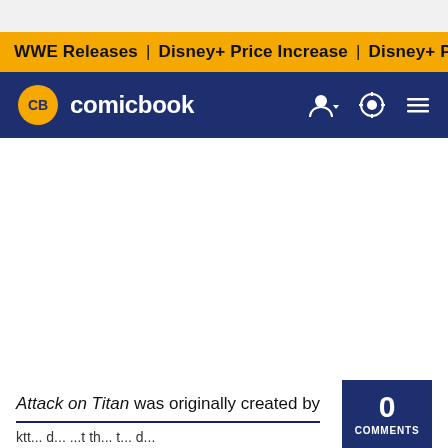WWE Releases | Disney+ Price Increase | Disney+ Price Incre
CB comicbook
[Figure (other): Large white advertisement/content area (blank)]
Attack on Titan was originally created by
0 COMMENTS